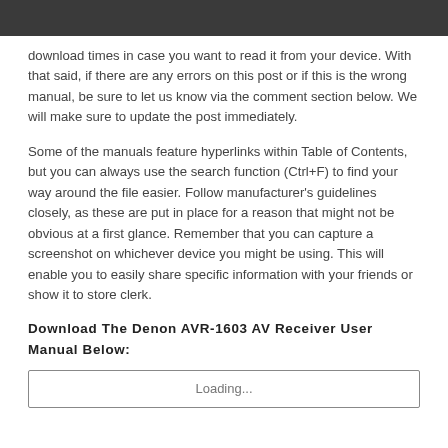download times in case you want to read it from your device. With that said, if there are any errors on this post or if this is the wrong manual, be sure to let us know via the comment section below. We will make sure to update the post immediately.
Some of the manuals feature hyperlinks within Table of Contents, but you can always use the search function (Ctrl+F) to find your way around the file easier. Follow manufacturer's guidelines closely, as these are put in place for a reason that might not be obvious at a first glance. Remember that you can capture a screenshot on whichever device you might be using. This will enable you to easily share specific information with your friends or show it to store clerk.
Download The Denon AVR-1603 AV Receiver User Manual Below:
Loading...